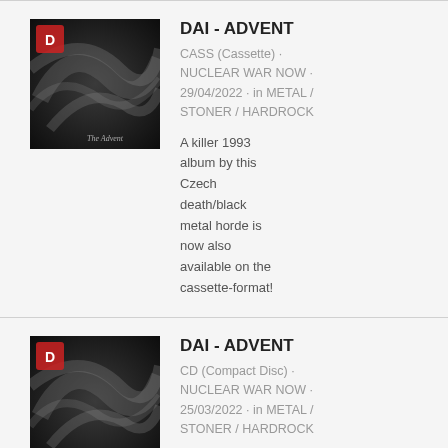[Figure (illustration): Album cover for DAI - ADVENT, dark smoky swirling imagery with band logo top-left]
DAI - ADVENT
CASS (Cassette) · NUCLEAR WAR NOW · 29/04/2022 · in METAL / STONER / HARDROCK
A killer 1993 album by this Czech death/black metal horde is now also available on the cassette-format!
[Figure (illustration): Album cover for DAI - ADVENT, dark smoky swirling imagery with band logo top-left]
DAI - ADVENT
CD (Compact Disc) · NUCLEAR WAR NOW · 25/03/2022 · in METAL / STONER / HARDROCK